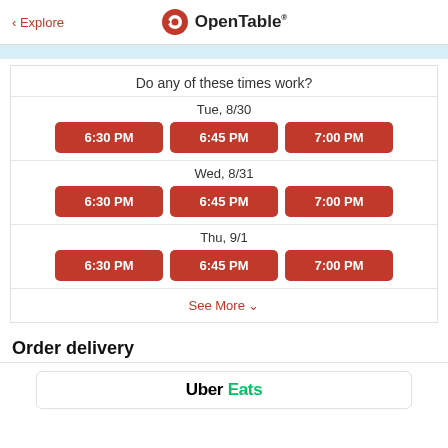< Explore  OpenTable
Do any of these times work?
Tue, 8/30
6:30 PM  6:45 PM  7:00 PM
Wed, 8/31
6:30 PM  6:45 PM  7:00 PM
Thu, 9/1
6:30 PM  6:45 PM  7:00 PM
See More
Order delivery
[Figure (logo): Uber Eats logo]